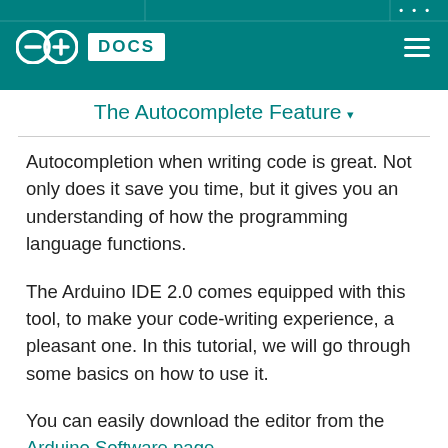Arduino DOCS
The Autocomplete Feature
Autocompletion when writing code is great. Not only does it save you time, but it gives you an understanding of how the programming language functions.
The Arduino IDE 2.0 comes equipped with this tool, to make your code-writing experience, a pleasant one. In this tutorial, we will go through some basics on how to use it.
You can easily download the editor from the Arduino Software page.